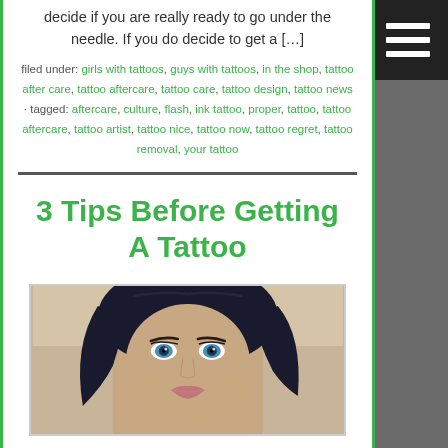decide if you are really ready to go under the needle. If you do decide to get a […]
filed under: girls with tattoos, guys with tattoos, in the shop, tattoo after care, tattoo aftercare, tattoo care, tattoo design, tattoo news · tagged: aftercare, culture, flash, ink tattoo, proper, tattoo, tattoo aftercare, tattoo artist, tattoo nice, tattoo now, tattoo regret, tattoo removal, your tattoo
3 Tips Before Getting A Tattoo
[Figure (photo): Photo of a young woman with dark hair and blue eyes, partial face visible from forehead to chin]